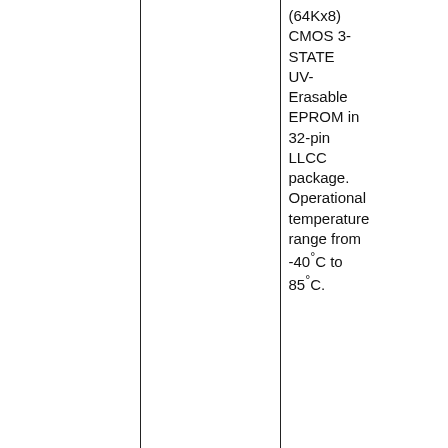|  | Part | Description | Link |
| --- | --- | --- | --- |
|  |  | (64Kx8) CMOS 3-STATE UV-Erasable EPROM in 32-pin LLCC package. Operational temperature range from -40°C to 85°C. | Datasheet |
|  | AM27C512PC | 512Kbit (64Kx8) CMOS 3-STATE UV-Erasable EPROM in 28-pin DIP package. Operational | Datasheet |